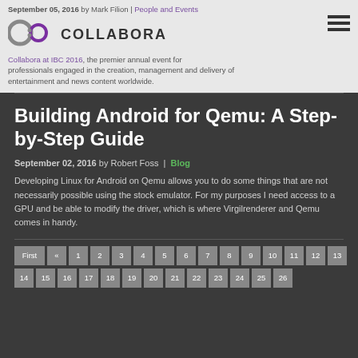September 05, 2016 by Mark Filion | People and Events
[Figure (logo): Collabora logo — C:O symbol with COLLABORA text]
Collabora at IBC 2016, the premier annual event for professionals engaged in the creation, management and delivery of entertainment and news content worldwide.
Building Android for Qemu: A Step-by-Step Guide
September 02, 2016 by Robert Foss | Blog
Developing Linux for Android on Qemu allows you to do some things that are not necessarily possible using the stock emulator. For my purposes I need access to a GPU and be able to modify the driver, which is where Virgilrenderer and Qemu comes in handy.
First « 1 2 3 4 5 6 7 8 9 10 11 12 13
14 15 16 17 18 19 20 21 22 23 24 25 26